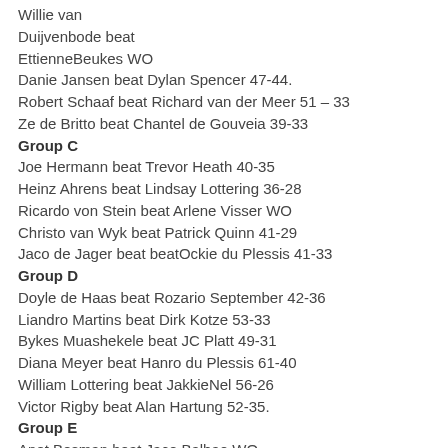Willie van Duijvenbode beat EttienneBeukes WO
Danie Jansen beat Dylan Spencer 47-44.
Robert Schaaf beat Richard van der Meer 51 – 33
Ze de Britto beat Chantel de Gouveia 39-33
Group C
Joe Hermann beat Trevor Heath 40-35
Heinz Ahrens beat Lindsay Lottering 36-28
Ricardo von Stein beat Arlene Visser WO
Christo van Wyk beat Patrick Quinn 41-29
Jaco de Jager beat beatOckie du Plessis 41-33
Group D
Doyle de Haas beat Rozario September 42-36
Liandro Martins beat Dirk Kotze 53-33
Bykes Muashekele beat JC Platt 49-31
Diana Meyer beat Hanro du Plessis 61-40
William Lottering beat JakkieNel 56-26
Victor Rigby beat Alan Hartung 52-35.
Group E
Anet Bosman beat Jaco Balhao WO
Kirsten Wolhuter beat Christelle Eiman WO
Hannes Dirsuwei beat Zola Nel 59-42
Corne Kruger beat Nelson Shikukwete WO